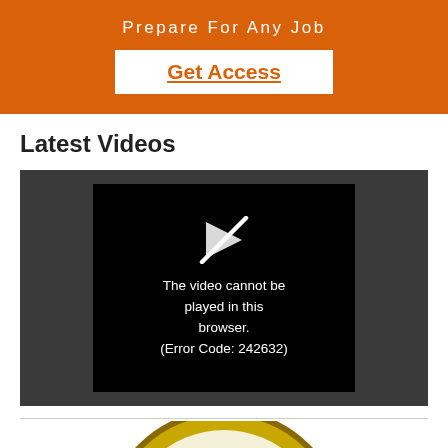Prepare For Any Job
Get Access
Latest Videos
[Figure (screenshot): Video player showing error message: The video cannot be played in this browser. (Error Code: 242632)]
[Figure (logo): Partial circular seal of West Virginia, gold and cream colored, partially visible at bottom of page]
[Figure (other): reCAPTCHA badge with Privacy + Terms text in bottom right corner]